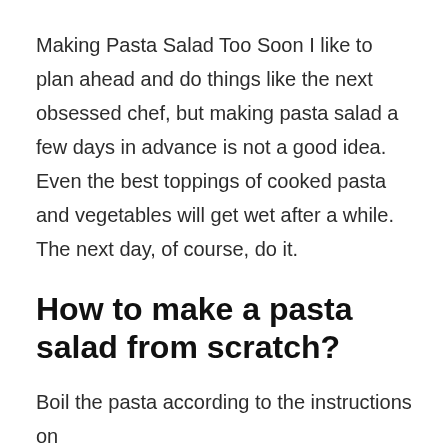Making Pasta Salad Too Soon I like to plan ahead and do things like the next obsessed chef, but making pasta salad a few days in advance is not a good idea. Even the best toppings of cooked pasta and vegetables will get wet after a while. The next day, of course, do it.
How to make a pasta salad from scratch?
Boil the pasta according to the instructions on